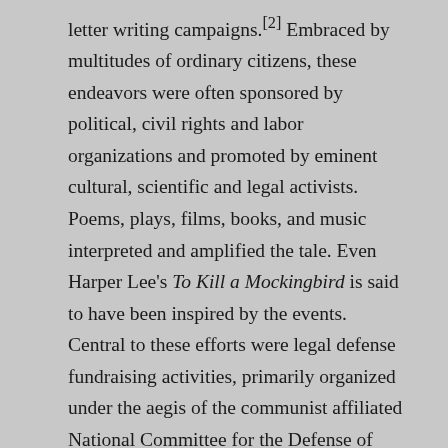letter writing campaigns.[2] Embraced by multitudes of ordinary citizens, these endeavors were often sponsored by political, civil rights and labor organizations and promoted by eminent cultural, scientific and legal activists. Poems, plays, films, books, and music interpreted and amplified the tale. Even Harper Lee's To Kill a Mockingbird is said to have been inspired by the events. Central to these efforts were legal defense fundraising activities, primarily organized under the aegis of the communist affiliated National Committee for the Defense of Political Prisoners. One such ambitious undertaking—an exhibition and sale of original manuscripts, musical scores and works of art—emerged from Carmel, California in early 1934. Langston Hughes, the eminent African American poet and author was one of its primary organizers. Edward Weston was